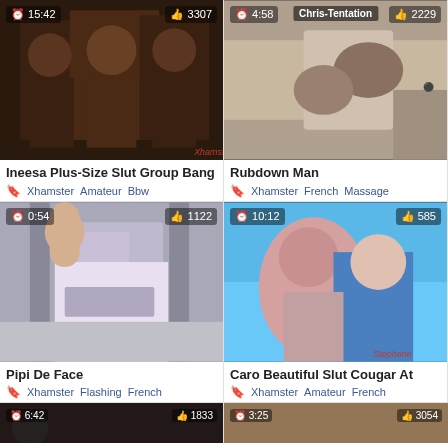[Figure (screenshot): Video thumbnail showing group of men, duration 15:42, likes 3307]
Ineesa Plus-Size Slut Group Bang
Xhamster  Amateur  Bbw
[Figure (screenshot): Video thumbnail showing couple, duration 4:58, channel Chris-Tentation, likes 2229]
Rubdown Man
Xhamster  French  Massage
[Figure (screenshot): Video thumbnail, duration 0:54, likes 1122]
Pipi De Face
Xhamster  Flashing  French
[Figure (screenshot): Video thumbnail showing people outdoors, duration 10:12, likes 585, watermark Stephane]
Caro Beautiful Slut Cougar At
Xhamster  Amateur  French
[Figure (screenshot): Video thumbnail partial, duration 6:42, likes 1833]
[Figure (screenshot): Video thumbnail partial, duration 3:25, likes 3054]